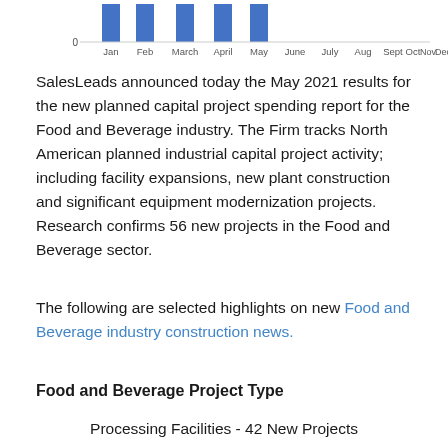[Figure (bar-chart): Bar chart showing monthly data with bars visible for Jan through May]
SalesLeads announced today the May 2021 results for the new planned capital project spending report for the Food and Beverage industry. The Firm tracks North American planned industrial capital project activity; including facility expansions, new plant construction and significant equipment modernization projects. Research confirms 56 new projects in the Food and Beverage sector.
The following are selected highlights on new Food and Beverage industry construction news.
Food and Beverage Project Type
Processing Facilities - 42 New Projects